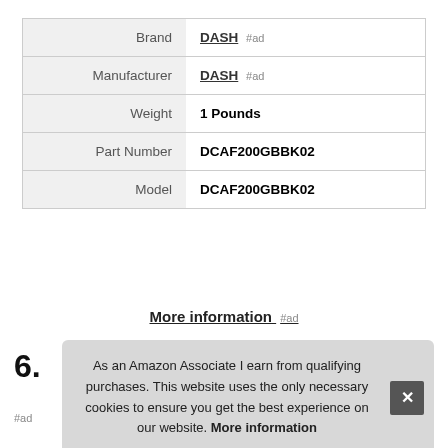|  |  |
| --- | --- |
| Brand | DASH #ad |
| Manufacturer | DASH #ad |
| Weight | 1 Pounds |
| Part Number | DCAF200GBBK02 |
| Model | DCAF200GBBK02 |
More information #ad
6.
As an Amazon Associate I earn from qualifying purchases. This website uses the only necessary cookies to ensure you get the best experience on our website. More information
#ad